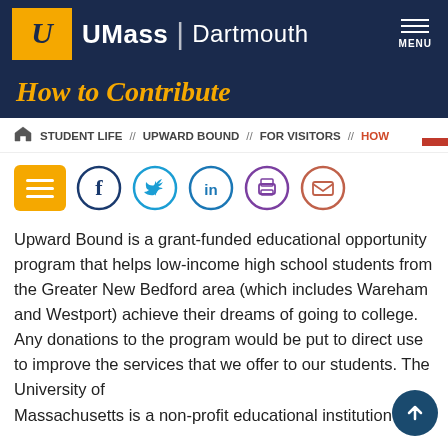[Figure (logo): UMass Dartmouth logo with gold U icon and white text 'UMass | Dartmouth' on dark navy background, with hamburger MENU button on right]
How to Contribute
STUDENT LIFE // UPWARD BOUND // FOR VISITORS // HOW
[Figure (infographic): Social sharing icons: gold menu icon, Facebook (dark blue circle), Twitter (blue circle), LinkedIn (blue circle), Print (purple circle), Email (salmon/red circle)]
Upward Bound is a grant-funded educational opportunity program that helps low-income high school students from the Greater New Bedford area (which includes Wareham and Westport) achieve their dreams of going to college. Any donations to the program would be put to direct use to improve the services that we offer to our students. The University of Massachusetts is a non-profit educational institution